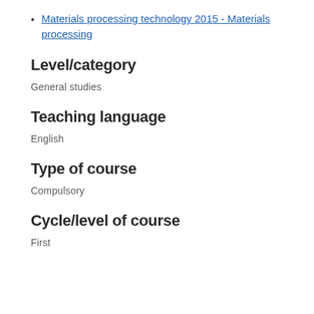Materials processing technology 2015 - Materials processing
Level/category
General studies
Teaching language
English
Type of course
Compulsory
Cycle/level of course
First